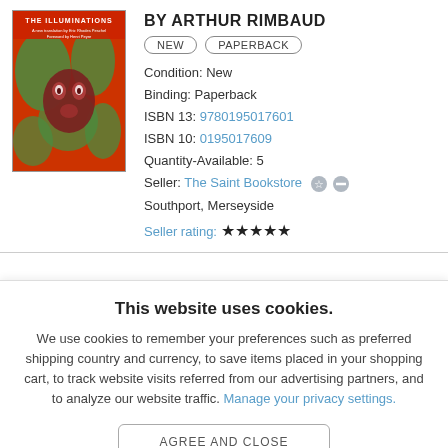[Figure (photo): Book cover of 'The Illuminations' by Arthur Rimbaud — red and green abstract face illustration on an orange-red background with white title text at top]
BY ARTHUR RIMBAUD
NEW   PAPERBACK
Condition: New
Binding: Paperback
ISBN 13: 9780195017601
ISBN 10: 0195017609
Quantity-Available: 5
Seller: The Saint Bookstore
Southport, Merseyside
Seller rating: ★★★★★
This website uses cookies.
We use cookies to remember your preferences such as preferred shipping country and currency, to save items placed in your shopping cart, to track website visits referred from our advertising partners, and to analyze our website traffic. Manage your privacy settings.
AGREE AND CLOSE